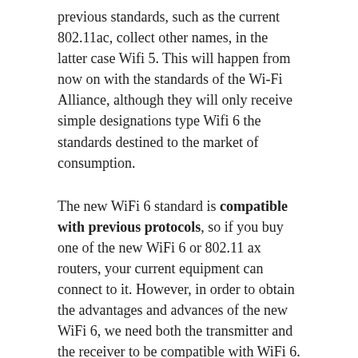previous standards, such as the current 802.11ac, collect other names, in the latter case Wifi 5. This will happen from now on with the standards of the Wi-Fi Alliance, although they will only receive simple designations type Wifi 6 the standards destined to the market of consumption.
The new WiFi 6 standard is compatible with previous protocols, so if you buy one of the new WiFi 6 or 802.11 ax routers, your current equipment can connect to it. However, in order to obtain the advantages and advances of the new WiFi 6, we need both the transmitter and the receiver to be compatible with WiFi 6.
More reach and coverage even in saturated spaces